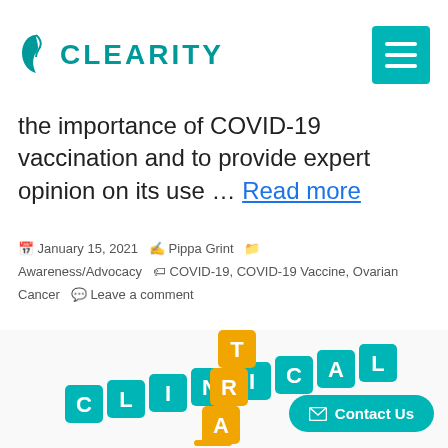CLEARITY
the importance of COVID-19 vaccination and to provide expert opinion on its use … Read more
January 15, 2021  Pippa Grint  Awareness/Advocacy  COVID-19, COVID-19 Vaccine, Ovarian Cancer  Leave a comment
[Figure (photo): 3D block letters spelling CLINICAL TRIAL in teal and orange colored cubes arranged in crossword style]
Contact Us